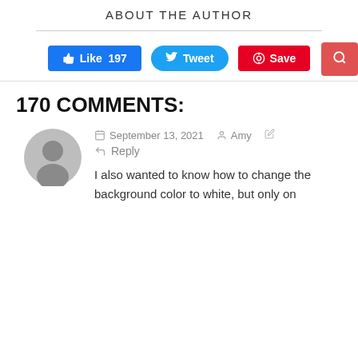ABOUT THE AUTHOR
[Figure (infographic): Social sharing buttons: Facebook Like 197, Twitter Tweet, Pinterest Save, and a red search button]
170 COMMENTS:
September 13, 2021   Amy   Reply
I also wanted to know how to change the background color to white, but only on